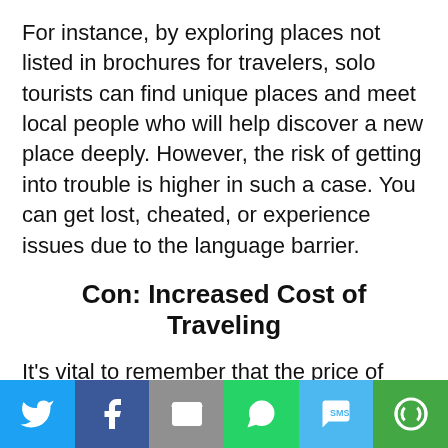For instance, by exploring places not listed in brochures for travelers, solo tourists can find unique places and meet local people who will help discover a new place deeply. However, the risk of getting into trouble is higher in such a case. You can get lost, cheated, or experience issues due to the language barrier.
Con: Increased Cost of Traveling
It's vital to remember that the price of traveling is higher for solo tourists. Indeed, those who explore the world alone can save by living in dorms and using local public transport in other countries.
[Figure (other): Social sharing footer bar with six buttons: Twitter (blue bird icon), Facebook (dark blue f icon), Email (grey envelope icon), WhatsApp (green phone icon), SMS (light blue SMS icon), More (green circular arrow icon)]